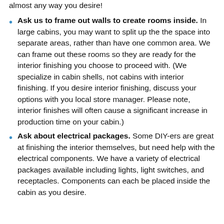almost any way you desire!
Ask us to frame out walls to create rooms inside. In large cabins, you may want to split up the the space into separate areas, rather than have one common area. We can frame out these rooms so they are ready for the interior finishing you choose to proceed with. (We specialize in cabin shells, not cabins with interior finishing. If you desire interior finishing, discuss your options with you local store manager. Please note, interior finishes will often cause a significant increase in production time on your cabin.)
Ask about electrical packages. Some DIY-ers are great at finishing the interior themselves, but need help with the electrical components. We have a variety of electrical packages available including lights, light switches, and receptacles. Components can each be placed inside the cabin as you desire.